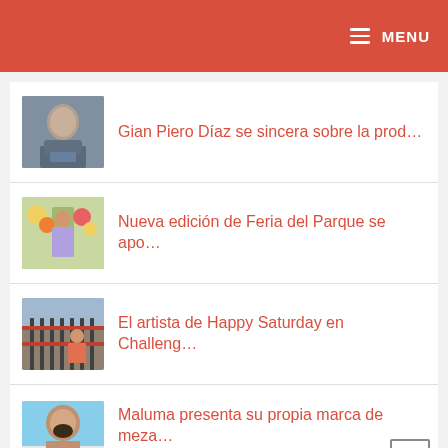MENU
Gian Piero Díaz se sincera sobre la prod…
Nueva edición de Feria del Parque se apo…
El artista de Happy Saturday en Challeng…
Maluma presenta su propia marca de meza…
dgar Viver: Don Barriga llora en